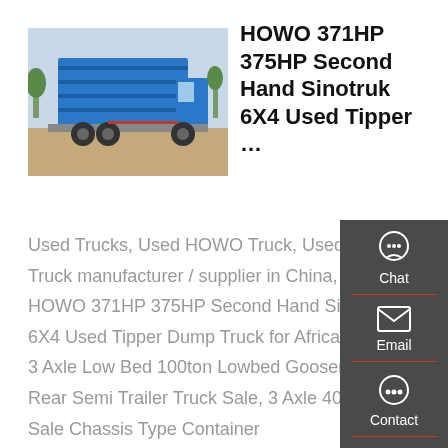[Figure (photo): Blue HOWO dump truck (tipper truck) photographed from rear-left angle on a construction/dirt area]
HOWO 371HP 375HP Second Hand Sinotruk 6X4 Used Tipper …
Used Trucks, Used HOWO Truck, Used Dump Truck manufacturer / supplier in China, offering HOWO 371HP 375HP Second Hand Sinotruk 6X4 Used Tipper Dump Truck for Africa Market, 3 Axle Low Bed 100ton Lowbed Gooseneck Rear Semi Trailer Truck Sale, 3 Axle 40 Ton Hot Sale Chassis Type Container